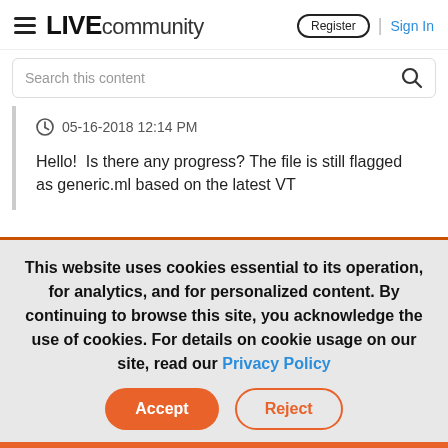LIVE community  Register | Sign In
Search this content
05-16-2018 12:14 PM
Hello!  Is there any progress? The file is still flagged as generic.ml based on the latest VT
This website uses cookies essential to its operation, for analytics, and for personalized content. By continuing to browse this site, you acknowledge the use of cookies. For details on cookie usage on our site, read our Privacy Policy
Accept  Reject